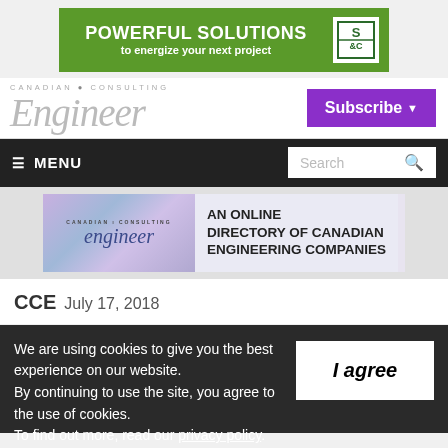[Figure (screenshot): Green advertisement banner: POWERFUL SOLUTIONS to energize your next project with SC logo]
[Figure (logo): Canadian Consulting Engineer logo with Subscribe button]
[Figure (screenshot): Dark navigation bar with MENU hamburger and Search box]
[Figure (screenshot): Canadian Consulting Engineer online directory banner]
CCE  July 17, 2018
We are using cookies to give you the best experience on our website.
By continuing to use the site, you agree to the use of cookies.
To find out more, read our privacy policy.